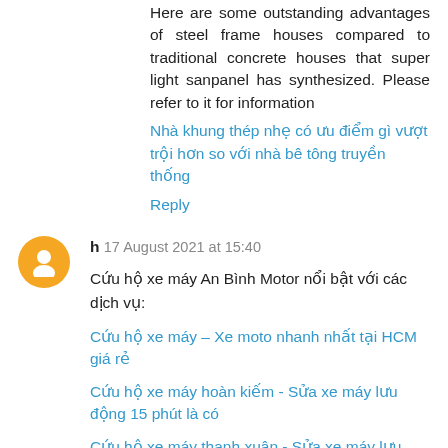Here are some outstanding advantages of steel frame houses compared to traditional concrete houses that super light sanpanel has synthesized. Please refer to it for information
Nhà khung thép nhẹ có ưu điểm gì vượt trội hơn so với nhà bê tông truyền thống
Reply
h 17 August 2021 at 15:40
Cứu hộ xe máy An Bình Motor nổi bật với các dịch vụ:
Cứu hộ xe máy – Xe moto nhanh nhất tại HCM giá rẻ
Cứu hộ xe máy hoàn kiếm - Sửa xe máy lưu động 15 phút là có
Cứu hộ xe máy thanh xuân - Sửa xe máy lưu động 15 phút là có